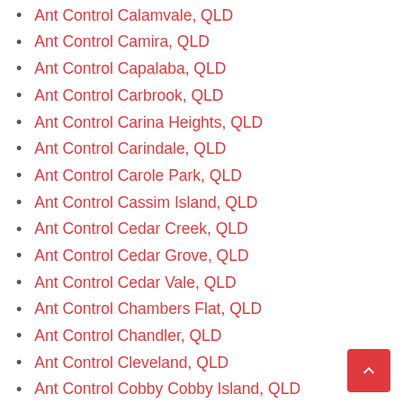Ant Control Calamvale, QLD
Ant Control Camira, QLD
Ant Control Capalaba, QLD
Ant Control Carbrook, QLD
Ant Control Carina Heights, QLD
Ant Control Carindale, QLD
Ant Control Carole Park, QLD
Ant Control Cassim Island, QLD
Ant Control Cedar Creek, QLD
Ant Control Cedar Grove, QLD
Ant Control Cedar Vale, QLD
Ant Control Chambers Flat, QLD
Ant Control Chandler, QLD
Ant Control Cleveland, QLD
Ant Control Cobby Cobby Island, QLD